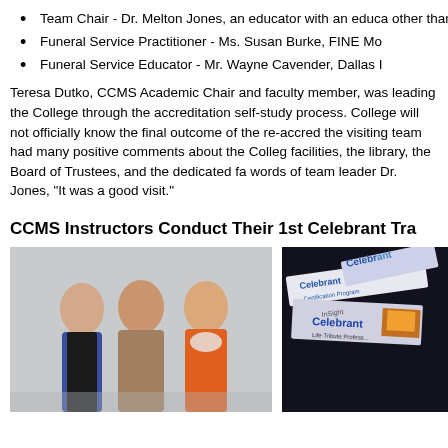Team Chair - Dr. Melton Jones, an educator with an education other than funeral service
Funeral Service Practitioner - Ms. Susan Burke, FINE Mo
Funeral Service Educator - Mr. Wayne Cavender, Dallas I
Teresa Dutko, CCMS Academic Chair and faculty member, was leading the College through the accreditation self-study process. College will not officially know the final outcome of the re-accred the visiting team had many positive comments about the Colleg facilities, the library, the Board of Trustees, and the dedicated fa words of team leader Dr. Jones, "It was a good visit."
CCMS Instructors Conduct Their 1st Celebrant Tra
[Figure (photo): Three women standing together and smiling in front of a gray wall. Left woman wears blue cardigan, middle woman wears patterned blouse, right woman wears orange top with white scarf.]
[Figure (photo): Close-up of Celebrant certification program booklets and materials spread on a dark surface, with the word 'Celebrant' visible on the covers.]